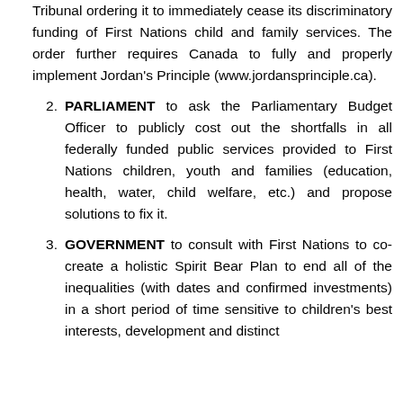Tribunal ordering it to immediately cease its discriminatory funding of First Nations child and family services. The order further requires Canada to fully and properly implement Jordan's Principle (www.jordansprinciple.ca).
PARLIAMENT to ask the Parliamentary Budget Officer to publicly cost out the shortfalls in all federally funded public services provided to First Nations children, youth and families (education, health, water, child welfare, etc.) and propose solutions to fix it.
GOVERNMENT to consult with First Nations to co-create a holistic Spirit Bear Plan to end all of the inequalities (with dates and confirmed investments) in a short period of time sensitive to children's best interests, development and distinct